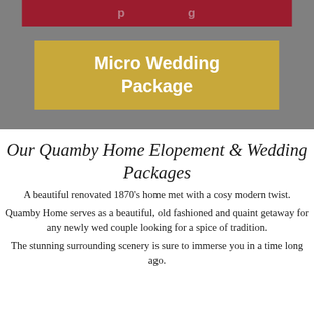[Figure (other): Gray banner with dark crimson bar at top (partially visible text) and a gold/yellow box in center reading 'Micro Wedding Package' in bold white text]
Our Quamby Home Elopement & Wedding Packages
A beautiful renovated 1870's home met with a cosy modern twist.
Quamby Home serves as a beautiful, old fashioned and quaint getaway for any newly wed couple looking for a spice of tradition.
The stunning surrounding scenery is sure to immerse you in a time long ago.